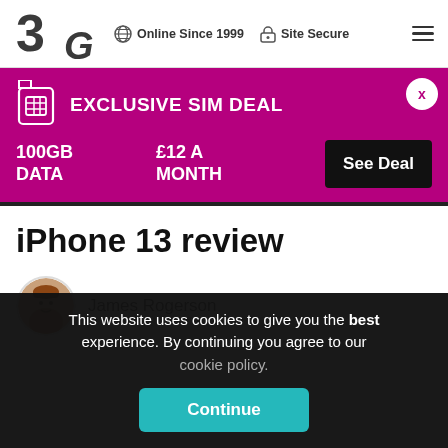[Figure (logo): 3G logo in dark grey with stylized '3' and italic 'G']
Online Since 1999  Site Secure
[Figure (infographic): Exclusive SIM Deal promotional banner: 100GB DATA, £12 A MONTH, See Deal button]
iPhone 13 review
[Figure (photo): Author avatar photo of James Rogerson]
James Rogerson
This website uses cookies to give you the best experience. By continuing you agree to our cookie policy. Continue